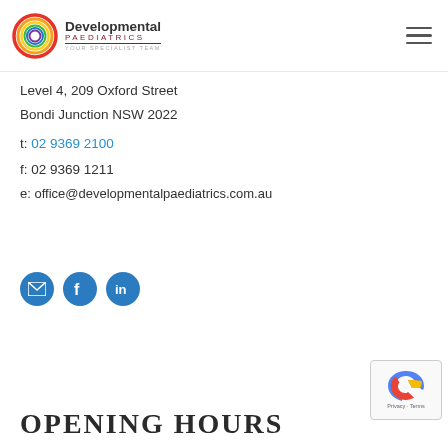[Figure (logo): Developmental Paediatrics logo with rainbow circle and text 'YOUR SPECIALIST TEAM']
Level 4, 209 Oxford Street
Bondi Junction NSW 2022
t: 02 9369 2100
f: 02 9369 1211
e: office@developmentalpaediatrics.com.au
[Figure (infographic): Three circular social media icon buttons: email, Facebook, LinkedIn]
OPENING HOURS